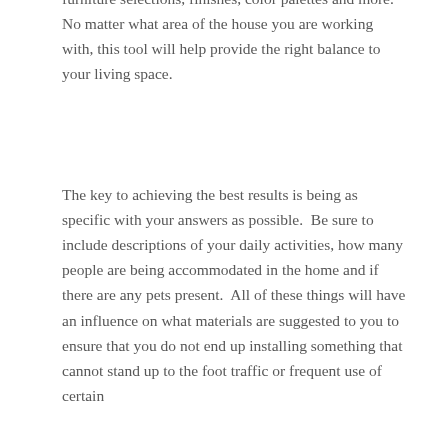furniture selections, finishes, color palettes and more.  No matter what area of the house you are working with, this tool will help provide the right balance to your living space.
The key to achieving the best results is being as specific with your answers as possible.  Be sure to include descriptions of your daily activities, how many people are being accommodated in the home and if there are any pets present.  All of these things will have an influence on what materials are suggested to you to ensure that you do not end up installing something that cannot stand up to the foot traffic or frequent use of certain